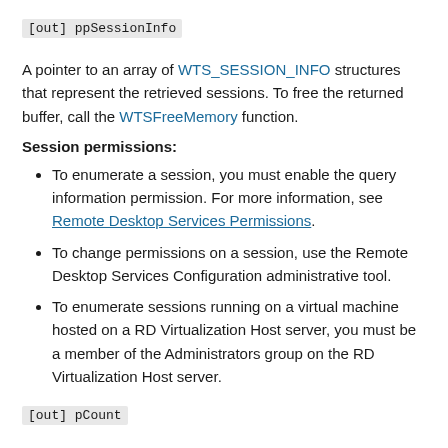[out] ppSessionInfo
A pointer to an array of WTS_SESSION_INFO structures that represent the retrieved sessions. To free the returned buffer, call the WTSFreeMemory function.
Session permissions:
To enumerate a session, you must enable the query information permission. For more information, see Remote Desktop Services Permissions.
To change permissions on a session, use the Remote Desktop Services Configuration administrative tool.
To enumerate sessions running on a virtual machine hosted on a RD Virtualization Host server, you must be a member of the Administrators group on the RD Virtualization Host server.
[out] pCount